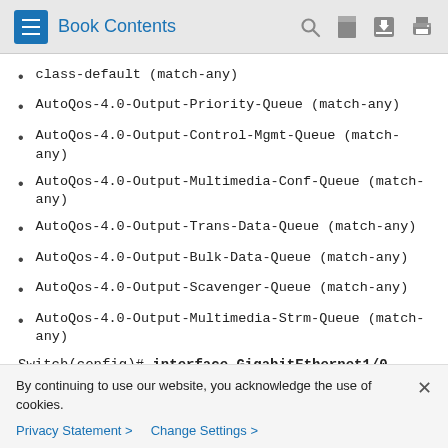Book Contents
class-default (match-any)
AutoQos-4.0-Output-Priority-Queue (match-any)
AutoQos-4.0-Output-Control-Mgmt-Queue (match-any)
AutoQos-4.0-Output-Multimedia-Conf-Queue (match-any)
AutoQos-4.0-Output-Trans-Data-Queue (match-any)
AutoQos-4.0-Output-Bulk-Data-Queue (match-any)
AutoQos-4.0-Output-Scavenger-Queue (match-any)
AutoQos-4.0-Output-Multimedia-Strm-Queue (match-any)
Switch(config)# interface GigabitEthernet1/0
By continuing to use our website, you acknowledge the use of cookies.
Privacy Statement > Change Settings >